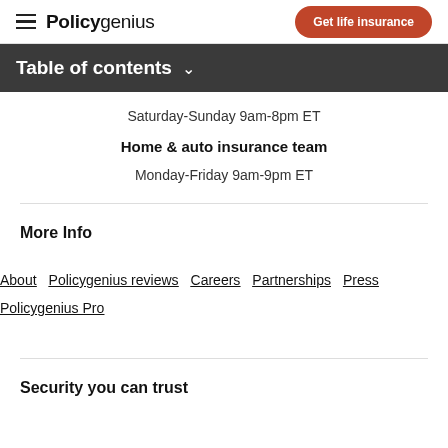Policygenius | Get life insurance
Table of contents
Saturday-Sunday 9am-8pm ET
Home & auto insurance team
Monday-Friday 9am-9pm ET
More Info
About
Policygenius reviews
Careers
Partnerships
Press
Policygenius Pro
Security you can trust